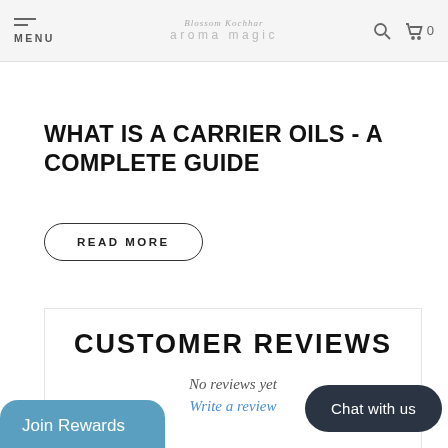MENU | aroma magic | search | cart 0
WHAT IS A CARRIER OILS - A COMPLETE GUIDE
READ MORE
CUSTOMER REVIEWS
No reviews yet
Write a review
Chat with us
Join Rewards